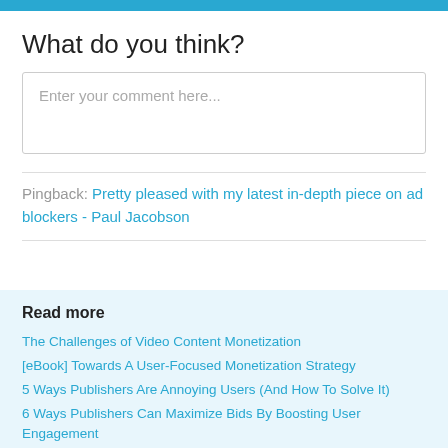What do you think?
Enter your comment here...
Pingback: Pretty pleased with my latest in-depth piece on ad blockers - Paul Jacobson
Read more
The Challenges of Video Content Monetization
[eBook] Towards A User-Focused Monetization Strategy
5 Ways Publishers Are Annoying Users (And How To Solve It)
6 Ways Publishers Can Maximize Bids By Boosting User Engagement
Interview: Speeding Up Digital Programmatic Circuit For...